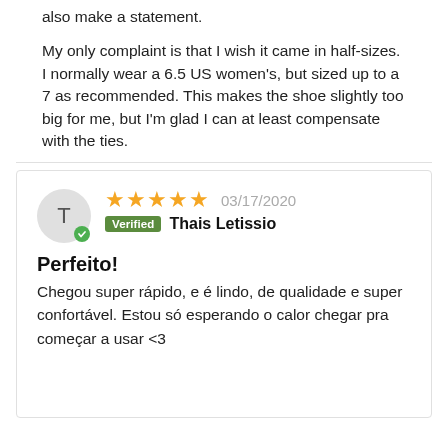also make a statement.
My only complaint is that I wish it came in half-sizes. I normally wear a 6.5 US women's, but sized up to a 7 as recommended. This makes the shoe slightly too big for me, but I'm glad I can at least compensate with the ties.
⭐⭐⭐⭐⭐ 03/17/2020 Verified Thais Letissio
Perfeito!
Chegou super rápido, e é lindo, de qualidade e super confortável. Estou só esperando o calor chegar pra começar a usar <3